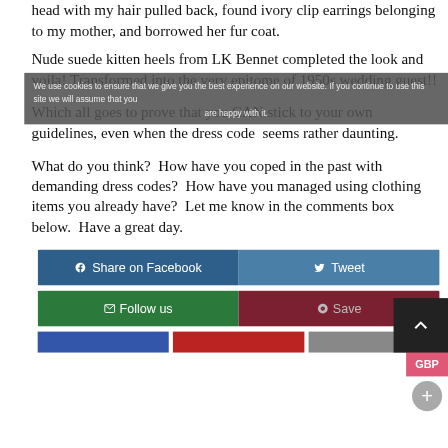head with my hair pulled back, found ivory clip earrings belonging to my mother, and borrowed her fur coat.
Nude suede kitten heels from LK Bennet completed the look and voila!  Transformed into the very epitome of 1950s wedding guest!!
We use cookies to ensure that we give you the best experience on our website. If you continue to use this site we will assume that you are happy with it.
Which all goes to prove that you CAN stick to your own guidelines, even when the dress code  seems rather daunting.
What do you think?  How have you coped in the past with demanding dress codes?  How have you managed using clothing items you already have?  Let me know in the comments box below.  Have a great day.
[Figure (other): Social sharing buttons: Share on Facebook (blue), Tweet (lighter blue), Follow us (green), Save (dark red/maroon). Plus a GBP currency selector button and a scroll-up arrow button.]